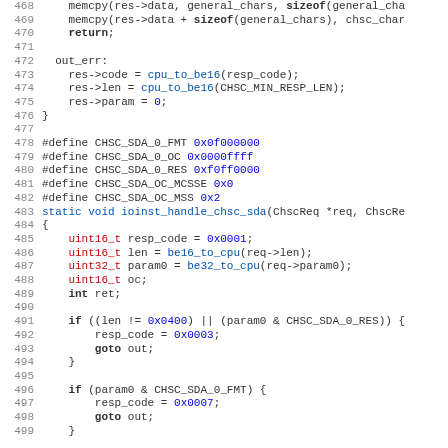Source code listing lines 468-499, C language code for CHSC SDA handler